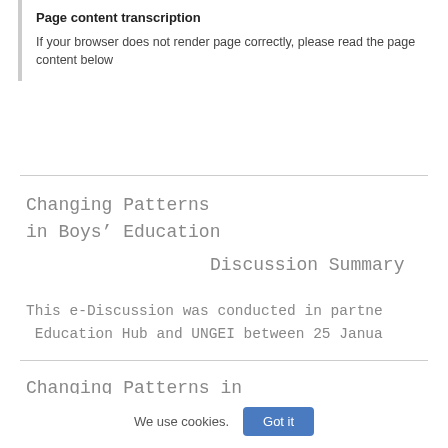Page content transcription
If your browser does not render page correctly, please read the page content below
Changing Patterns
in Boys’ Education
					Discussion Summary
This e-Discussion was conducted in partne Education Hub and UNGEI between 25 Janua
Changing Patterns in
We use cookies.